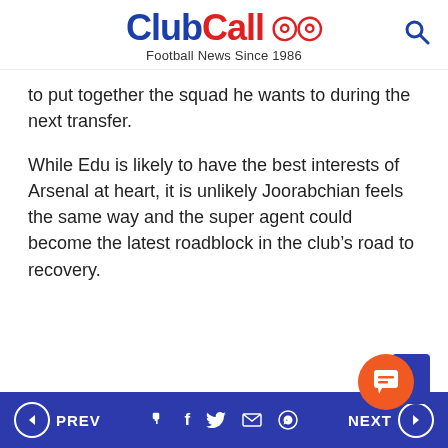ClubCall - Football News Since 1986
to put together the squad he wants to during the next transfer.
While Edu is likely to have the best interests of Arsenal at heart, it is unlikely Joorabchian feels the same way and the super agent could become the latest roadblock in the club’s road to recovery.
PREV | f | Twitter | Email | WhatsApp | NEXT